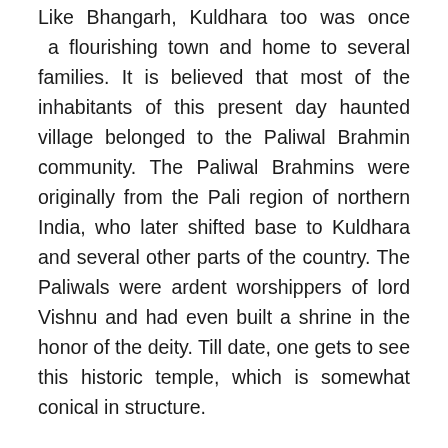Like Bhangarh, Kuldhara too was once a flourishing town and home to several families. It is believed that most of the inhabitants of this present day haunted village belonged to the Paliwal Brahmin community. The Paliwal Brahmins were originally from the Pali region of northern India, who later shifted base to Kuldhara and several other parts of the country. The Paliwals were ardent worshippers of lord Vishnu and had even built a shrine in the honor of the deity. Till date, one gets to see this historic temple, which is somewhat conical in structure.
The exact reason which turned this place into a ghost town remains unknown. However, speculations about the possible triggers have been flying thick and fast. It is being said that the